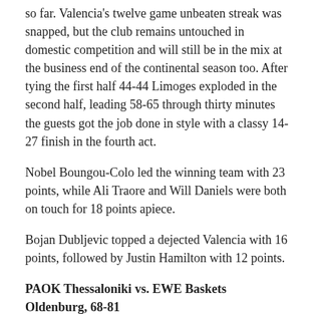so far. Valencia's twelve game unbeaten streak was snapped, but the club remains untouched in domestic competition and will still be in the mix at the business end of the continental season too. After tying the first half 44-44 Limoges exploded in the second half, leading 58-65 through thirty minutes the guests got the job done in style with a classy 14-27 finish in the fourth act.
Nobel Boungou-Colo led the winning team with 23 points, while Ali Traore and Will Daniels were both on touch for 18 points apiece.
Bojan Dubljevic topped a dejected Valencia with 16 points, followed by Justin Hamilton with 12 points.
PAOK Thessaloniki vs. EWE Baskets Oldenburg, 68-81
EWE Baskets Oldenburg bounced back from its defeat to Valencia last week by crushing PAOK Thessaloniki on the road to show it is still a threat in Group I. The German team moved to 2-1 alongside Valencia, while PAOK was handed